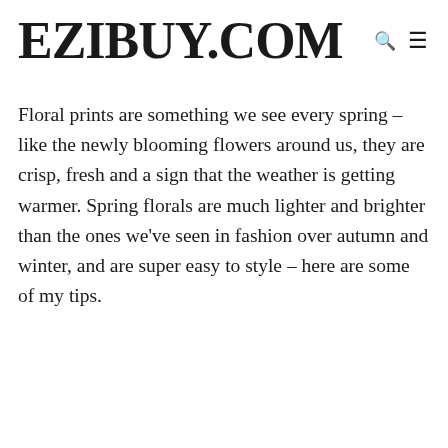EZIBUY.COM
Floral prints are something we see every spring – like the newly blooming flowers around us, they are crisp, fresh and a sign that the weather is getting warmer. Spring florals are much lighter and brighter than the ones we've seen in fashion over autumn and winter, and are super easy to style – here are some of my tips.